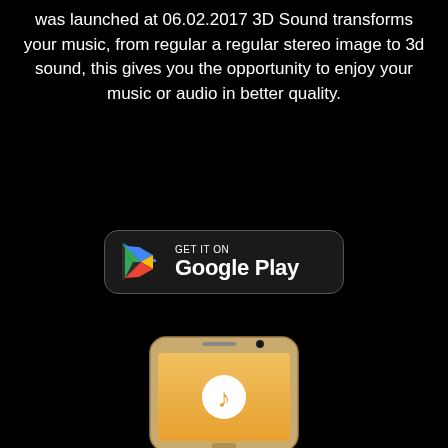was launched at 06.02.2017 3D Sound transforms your music, from regular a regular stereo image to 3d sound, this gives you the opportunity to enjoy your music or audio in better quality.
[Figure (logo): Google Play Store badge with colorful play button triangle icon and text GET IT ON Google Play on dark rounded rectangle]
[Figure (photo): Gold/champagne colored Samsung Android smartphone with music app icon on screen showing orange/yellow gradient background with white circle music note icon]